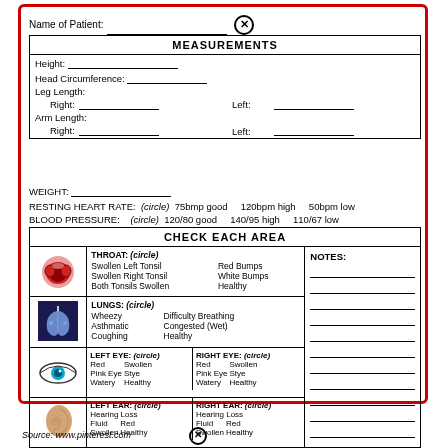Name of Patient: ___________
| MEASUREMENTS |
| --- |
| Height: _______________ |
| Head Circumference: _______________ |
| Leg Length: Right: _______________ Left: _______________ |
| Arm Length: Right: _______________ Left: _______________ |
WEIGHT: _______________
RESTING HEART RATE: (circle) 75bmp good   120bpm high   50bpm low
BLOOD PRESSURE: (circle) 120/80 good   140/95 high   110/67 low
| CHECK EACH AREA |
| --- |
| THROAT image | THROAT: (circle) Swollen Left Tonsil, Red Bumps, Swollen Right Tonsil, White Bumps, Both Tonsils Swollen, Healthy | NOTES: |
| LUNGS image | LUNGS: (circle) Wheezy, Difficulty Breathing, Asthmatic, Congested (Wet), Coughing, Healthy |  |
| EYE image | LEFT EYE: (circle) Red Swollen, Pink Eye Stye, Watery Healthy | RIGHT EYE: (circle) Red Swollen, Pink Eye Stye, Watery Healthy |  |
| EAR image | LEFT EAR: (circle) Hearing Loss, Fluid Red, Swollen Healthy | RIGHT EAR: (circle) Hearing Loss, Fluid Red, Swollen Healthy |  |
Source: www.pinterest.com